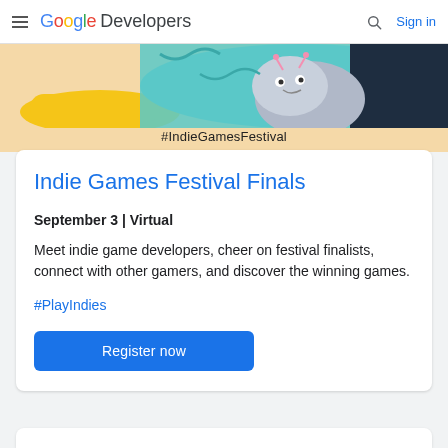Google Developers — Sign in
[Figure (illustration): Indie Games Festival banner illustration with colorful cartoon characters on a peach/tan background with text #IndieGamesFestival]
Indie Games Festival Finals
September 3 | Virtual
Meet indie game developers, cheer on festival finalists, connect with other gamers, and discover the winning games.
#PlayIndies
Register now